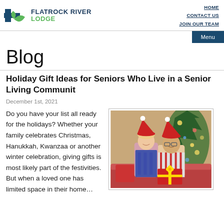FLATROCK RIVER LODGE | HOME | CONTACT US | JOIN OUR TEAM
Blog
Holiday Gift Ideas for Seniors Who Live in a Senior Living Communit
December 1st, 2021
Do you have your list all ready for the holidays? Whether your family celebrates Christmas, Hanukkah, Kwanzaa or another winter celebration, giving gifts is most likely part of the festivities. But when a loved one has limited space in their home…
[Figure (photo): Two people wearing Santa hats smiling, holding a red gift box, with a Christmas tree in the background]